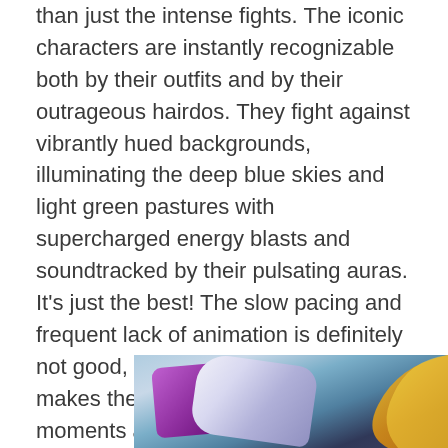than just the intense fights. The iconic characters are instantly recognizable both by their outfits and by their outrageous hairdos. They fight against vibrantly hued backgrounds, illuminating the deep blue skies and light green pastures with supercharged energy blasts and soundtracked by their pulsating auras. It's just the best! The slow pacing and frequent lack of animation is definitely not good, but it's also part of what makes the show so fun. The biggest moments are always worth the wait in Dragon Ball Z.
[Figure (illustration): Anime scene from Dragon Ball Z showing characters with purple and white energy effects against a blue-grey cloudy background, with a golden arc visible on the right side.]